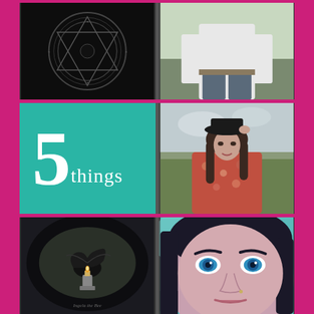[Figure (photo): Dark mystical circular seal/sigil on black background]
[Figure (photo): Person in white shirt, partial view from waist down]
[Figure (illustration): Teal background with large white '5' and 'things' text]
[Figure (photo): Young woman wearing black hat, floral clothing, outdoors]
[Figure (photo): Dark artistic photo of a raven on a perch with candle, circular vignette, Gothic style text]
[Figure (photo): Close-up portrait of woman with blue-black hair and blue eyes]